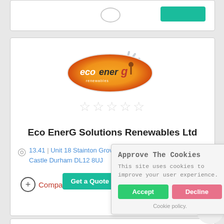[Figure (screenshot): Top card with teal button, partially visible]
[Figure (logo): Eco EnerG Solutions Renewables Ltd logo — orange/red oval with sunburst rays and company name]
☆☆☆☆☆
Eco EnerG Solutions Renewables Ltd
13.41 | Unit 18 Stainton Grove Industrial Estate Barnard Castle Durham DL12 8UJ
Compare
Get a Quote
Approve The Cookies
This site uses cookies to improve your user experience.
Accept
Decline
Cookie policy.